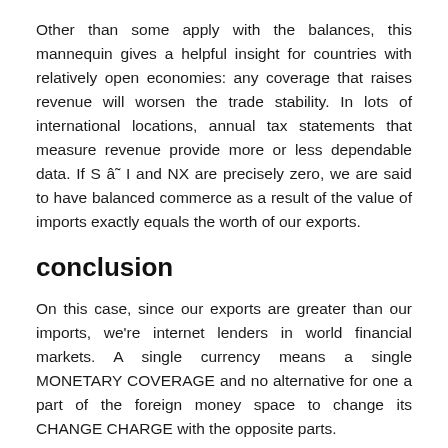Other than some apply with the balances, this mannequin gives a helpful insight for countries with relatively open economies: any coverage that raises revenue will worsen the trade stability. In lots of international locations, annual tax statements that measure revenue provide more or less dependable data. If S â˜ I and NX are precisely zero, we are said to have balanced commerce as a result of the value of imports exactly equals the worth of our exports.
conclusion
On this case, since our exports are greater than our imports, we're internet lenders in world financial markets. A single currency means a single MONETARY COVERAGE and no alternative for one a part of the foreign money space to change its CHANGE CHARGE with the opposite parts.